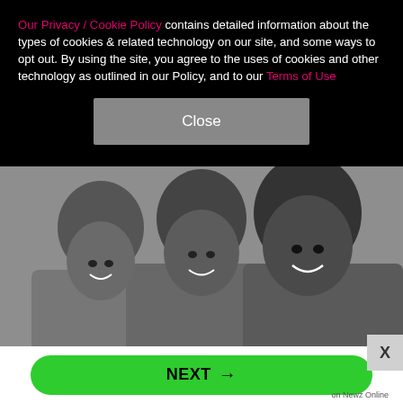Our Privacy / Cookie Policy contains detailed information about the types of cookies & related technology on our site, and some ways to opt out. By using the site, you agree to the uses of cookies and other technology as outlined in our Policy, and to our Terms of Use
[Figure (other): Close button (gray rectangle with 'Close' text)]
[Figure (photo): Black and white photograph of three women (The Supremes) smiling and posing together, with short dark hairstyles, wearing light-colored clothing.]
[Figure (other): X dismiss button (light gray square with X character)]
[Figure (other): Green rounded NEXT button with arrow, labeled 'on Newz Online' below]